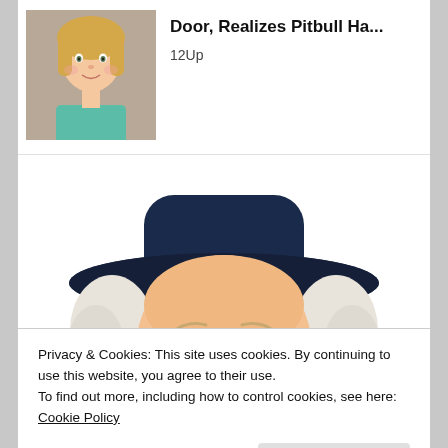[Figure (photo): Thumbnail photo of a young blonde girl in a teal shirt]
Door, Realizes Pitbull Ha...
12Up
[Figure (illustration): Illustration of the Quaker Oats man: a smiling colonial-era man with white curly hair wearing a dark navy wide-brimmed hat and white ruffled collar]
Privacy & Cookies: This site uses cookies. By continuing to use this website, you agree to their use.
To find out more, including how to control cookies, see here: Cookie Policy
Close and accept
[Figure (photo): Partial thumbnail images at the bottom of the page]